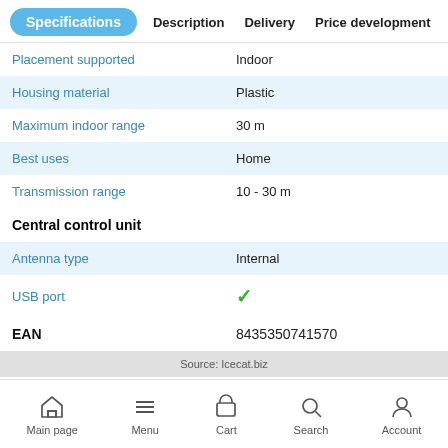Specifications | Description | Delivery | Price development
|  |  |
| --- | --- |
| Placement supported | Indoor |
| Housing material | Plastic |
| Maximum indoor range | 30 m |
| Best uses | Home |
| Transmission range | 10 - 30 m |
| Central control unit |  |
| Antenna type | Internal |
| USB port | ✓ |
| EAN | 8435350741570 |
Source: Icecat.biz
Main page  Menu  Cart  Search  Account